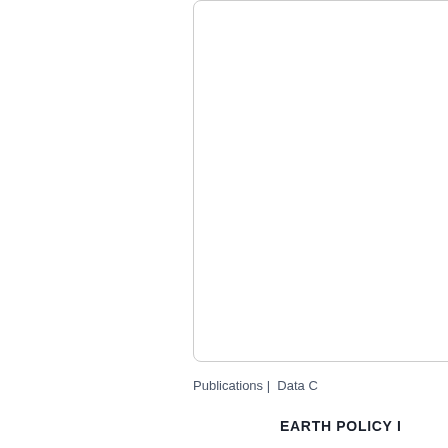[Figure (other): Rounded rectangle border/box element, partially visible, white background with light gray border]
Publications |  Data C
EARTH POLICY I